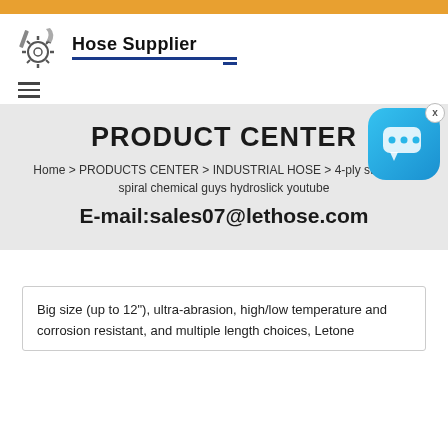[Figure (logo): Hose Supplier logo with gear/hose icon and bold text 'Hose Supplier' with blue underline]
PRODUCT CENTER
Home > PRODUCTS CENTER > INDUSTRIAL HOSE > 4-ply steel wire spiral chemical guys hydroslick youtube
E-mail:sales07@lethose.com
Big size (up to 12"), ultra-abrasion, high/low temperature and corrosion resistant, and multiple length choices, Letone